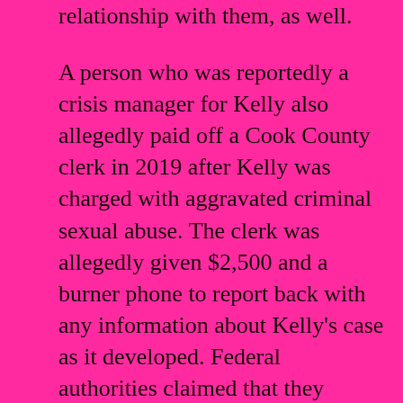relationship with them, as well.

A person who was reportedly a crisis manager for Kelly also allegedly paid off a Cook County clerk in 2019 after Kelly was charged with aggravated criminal sexual abuse. The clerk was allegedly given $2,500 and a burner phone to report back with any information about Kelly's case as it developed. Federal authorities claimed that they obtained a recording of the conversation from R. Kelly's cellphone.

Watch a news report about these